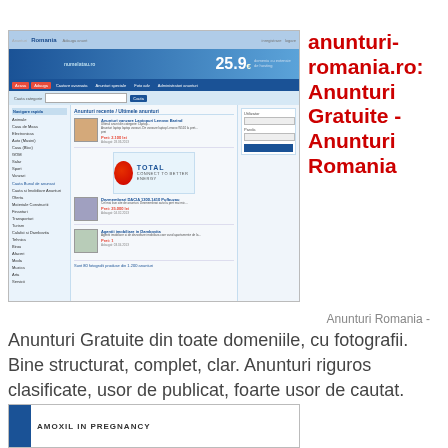[Figure (screenshot): Screenshot of anunturi-romania.ro website showing classified ads listings with navigation, search bar, sidebar categories, listings with images, and a Total oil company advertisement]
anunturi-romania.ro: Anunturi Gratuite - Anunturi Romania
Anunturi Romania -
Anunturi Gratuite din toate domeniile, cu fotografii. Bine structurat, complet, clar. Anunturi riguros clasificate, usor de publicat, foarte usor de cautat.
[Figure (screenshot): Partial screenshot of another webpage showing blue sidebar and text reading AMOXIL IN PREGNANCY]